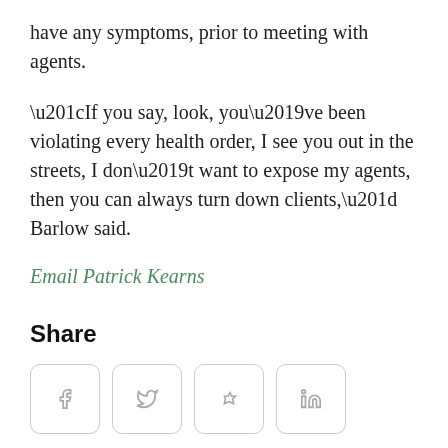have any symptoms, prior to meeting with agents.
“If you say, look, you’ve been violating every health order, I see you out in the streets, I don’t want to expose my agents, then you can always turn down clients,” Barlow said.
Email Patrick Kearns
Share
[Figure (infographic): Four social media share buttons: Facebook (f), Twitter (bird), Pinterest (p), LinkedIn (in)]
What’s your reaction?
[Figure (infographic): Three empty reaction card placeholders in a row]